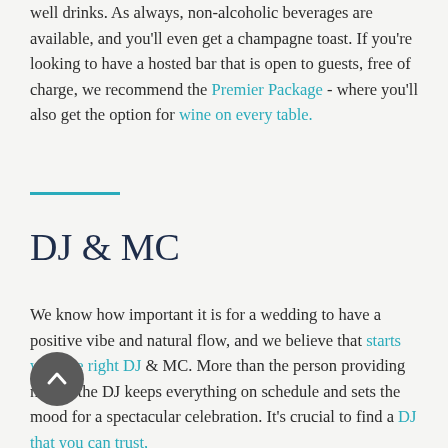well drinks. As always, non-alcoholic beverages are available, and you'll even get a champagne toast. If you're looking to have a hosted bar that is open to guests, free of charge, we recommend the Premier Package - where you'll also get the option for wine on every table.
DJ & MC
We know how important it is for a wedding to have a positive vibe and natural flow, and we believe that starts with the right DJ & MC. More than the person providing music, the DJ keeps everything on schedule and sets the mood for a spectacular celebration. It's crucial to find a DJ that you can trust,